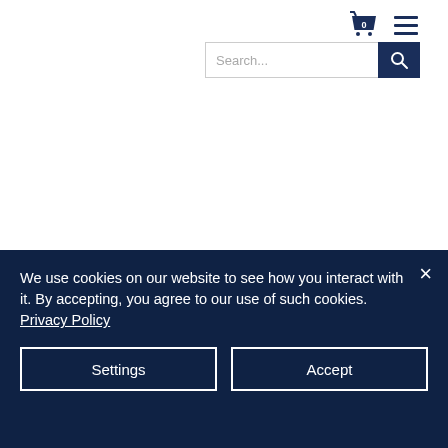[Figure (screenshot): Website navigation header with shopping cart icon showing 0 items, hamburger menu icon, and a search bar with 'Search...' placeholder and a dark navy search button with magnifying glass icon]
We use cookies on our website to see how you interact with it. By accepting, you agree to our use of such cookies. Privacy Policy
Settings
Accept